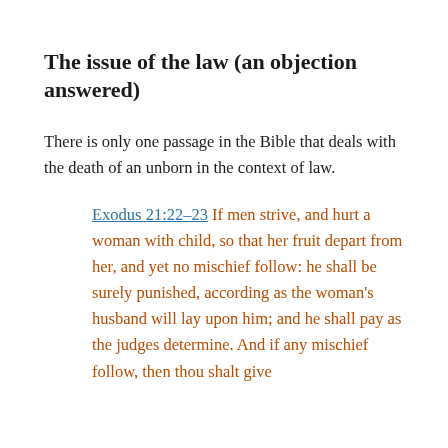The issue of the law (an objection answered)
There is only one passage in the Bible that deals with the death of an unborn in the context of law.
Exodus 21:22-23 If men strive, and hurt a woman with child, so that her fruit depart from her, and yet no mischief follow: he shall be surely punished, according as the woman’s husband will lay upon him; and he shall pay as the judges determine. And if any mischief follow, then thou shalt give